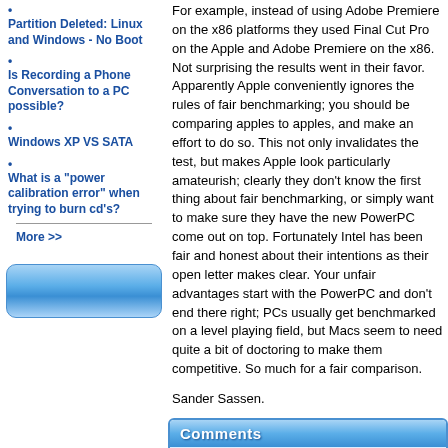Partition Deleted: Linux and Windows - No Boot
Is Recording a Phone Conversation to a PC possible?
Windows XP VS SATA
What is a "power calibration error" when trying to burn cd's?
More >>
For example, instead of using Adobe Premiere on the x86 platforms they used Final Cut Pro on the Apple and Adobe Premiere on the x86. Not surprising the results went in their favor. Apparently Apple conveniently ignores the rules of fair benchmarking; you should be comparing apples to apples, and make an effort to do so. This not only invalidates the test, but makes Apple look particularly amateurish; clearly they don't know the first thing about fair benchmarking, or simply want to make sure they have the new PowerPC come out on top. Fortunately Intel has been fair and honest about their intentions as their open letter makes clear. Your unfair advantages start with the PowerPC and don't end there right; PCs usually get benchmarked on a level playing field, but Macs seem to need quite a bit of doctoring to make them competitive. So much for a fair comparison.
Sander Sassen.
Comments
| Subject | Author | Rep |
| --- | --- | --- |
| Re: Apple cooks the numbers, again? | Michael A. | 12 rep |
| Nitrous for your Computer? | Dave McLain | 8 rep |
| Re: Apple cooks the numbers, again? | Michael Poteat | 63 rep |